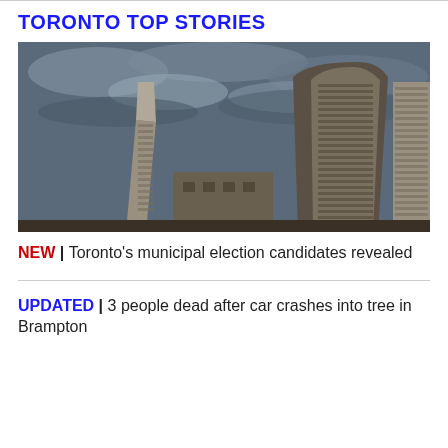TORONTO TOP STORIES
[Figure (photo): Looking up at Toronto City Hall's two curved towers against a dramatic cloudy sky]
NEW | Toronto's municipal election candidates revealed
UPDATED | 3 people dead after car crashes into tree in Brampton